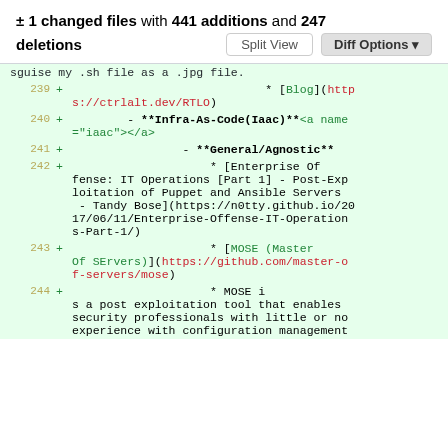± 1 changed files with 441 additions and 247 deletions
sguise my .sh file as a .jpg file.
239 + * [Blog](https://ctrlalt.dev/RTLO)
240 + - **Infra-As-Code(Iaac)**<a name="iaac"></a>
241 + - **General/Agnostic**
242 + * [Enterprise Offense: IT Operations [Part 1] - Post-Exploitation of Puppet and Ansible Servers - Tandy Bose](https://n0tty.github.io/2017/06/11/Enterprise-Offense-IT-Operations-Part-1/)
243 + * [MOSE (Master Of SErvers)](https://github.com/master-of-servers/mose)
244 + * MOSE is a post exploitation tool that enables security professionals with little or no experience with configuration management